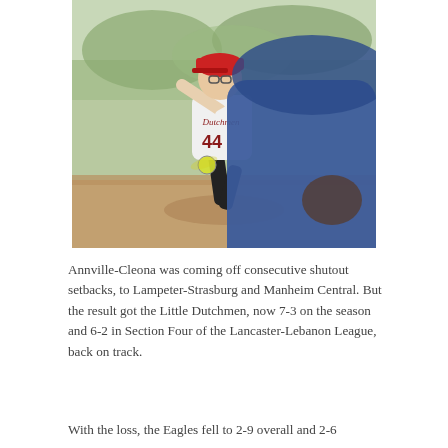[Figure (photo): A softball pitcher in a white Dutchmen jersey with number 44 winds up to throw, with a blurred batter in blue jersey in the foreground.]
Annville-Cleona was coming off consecutive shutout setbacks, to Lampeter-Strasburg and Manheim Central. But the result got the Little Dutchmen, now 7-3 on the season and 6-2 in Section Four of the Lancaster-Lebanon League, back on track.
With the loss, the Eagles fell to 2-9 overall and 2-6